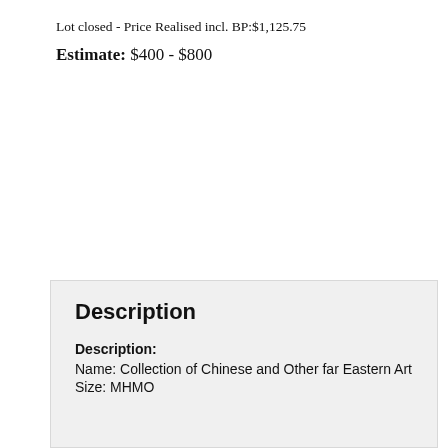Lot closed - Price Realised incl. BP:$1,125.75
Estimate: $400 - $800
Description
Description:
Name: Collection of Chinese and Other far Eastern Art
Size: MHMO